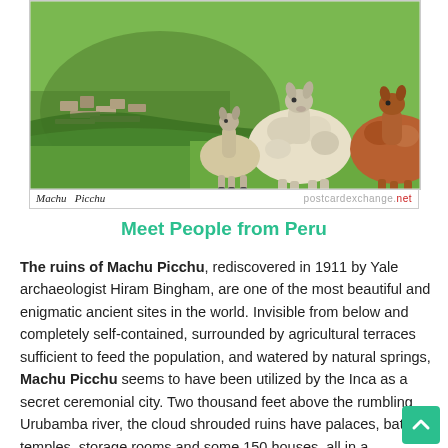[Figure (photo): Photograph of llamas standing on green grass at Machu Picchu ruins in Peru. The ancient stone ruins are visible in the background on the mountainside. A postcard-style image with 'Machu Picchu' caption at the bottom left and 'postcardexchange.net' watermark at the bottom right.]
Meet People from Peru
The ruins of Machu Picchu, rediscovered in 1911 by Yale archaeologist Hiram Bingham, are one of the most beautiful and enigmatic ancient sites in the world. Invisible from below and completely self-contained, surrounded by agricultural terraces sufficient to feed the population, and watered by natural springs, Machu Picchu seems to have been utilized by the Inca as a secret ceremonial city. Two thousand feet above the rumbling Urubamba river, the cloud shrouded ruins have palaces, baths, temples, storage rooms and some 150 houses, all in a remarkable state of preservation.